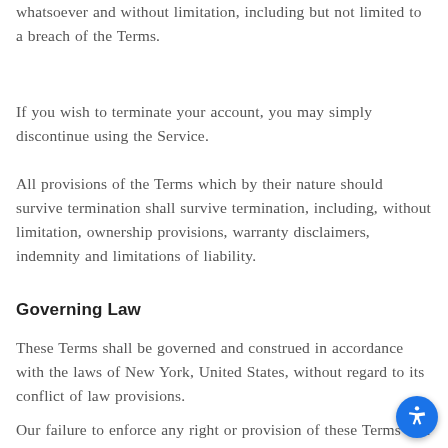whatsoever and without limitation, including but not limited to a breach of the Terms.
If you wish to terminate your account, you may simply discontinue using the Service.
All provisions of the Terms which by their nature should survive termination shall survive termination, including, without limitation, ownership provisions, warranty disclaimers, indemnity and limitations of liability.
Governing Law
These Terms shall be governed and construed in accordance with the laws of New York, United States, without regard to its conflict of law provisions.
Our failure to enforce any right or provision of these Terms will not be considered a waiver of those rights. If